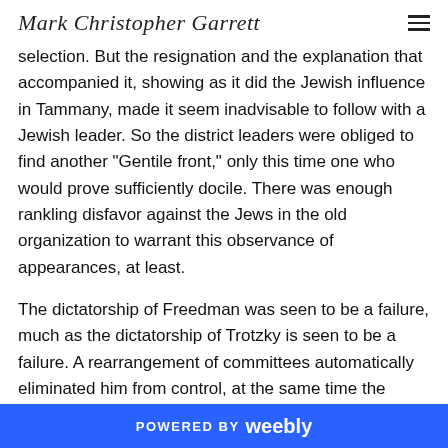Mark Christopher Garrett
selection. But the resignation and the explanation that accompanied it, showing as it did the Jewish influence in Tammany, made it seem inadvisable to follow with a Jewish leader. So the district leaders were obliged to find another “Gentile front,” only this time one who would prove sufficiently docile. There was enough rankling disfavor against the Jews in the old organization to warrant this observance of appearances, at least.
The dictatorship of Freedman was seen to be a failure, much as the dictatorship of Trotzky is seen to be a failure. A rearrangement of committees automatically eliminated him from control, at the same time the name of Croker
POWERED BY weebly